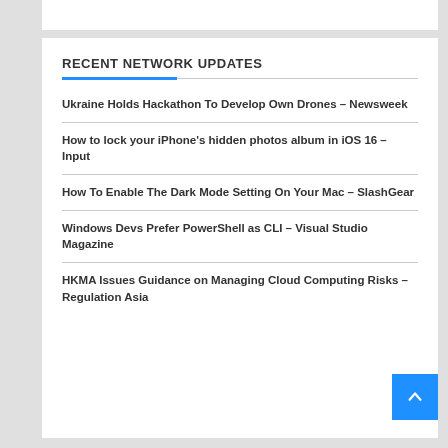RECENT NETWORK UPDATES
Ukraine Holds Hackathon To Develop Own Drones – Newsweek
How to lock your iPhone's hidden photos album in iOS 16 – Input
How To Enable The Dark Mode Setting On Your Mac – SlashGear
Windows Devs Prefer PowerShell as CLI – Visual Studio Magazine
HKMA Issues Guidance on Managing Cloud Computing Risks – Regulation Asia